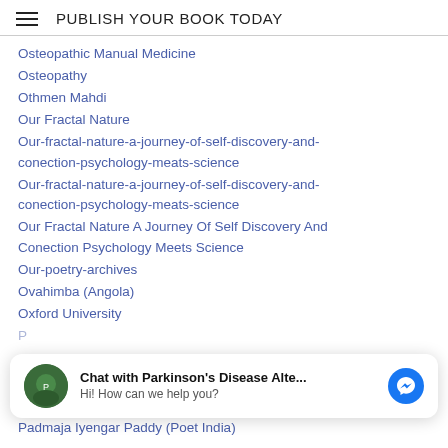PUBLISH YOUR BOOK TODAY
Osteopathic Manual Medicine
Osteopathy
Othmen Mahdi
Our Fractal Nature
Our-fractal-nature-a-journey-of-self-discovery-and-conection-psychology-meats-science
Our-fractal-nature-a-journey-of-self-discovery-and-conection-psychology-meats-science
Our Fractal Nature A Journey Of Self Discovery And Conection Psychology Meets Science
Our-poetry-archives
Ovahimba (Angola)
Oxford University
[Figure (other): Chat widget: Chat with Parkinson's Disease Alte... Hi! How can we help you? with messenger icon]
Padmaja Iyengar Paddy (Poet India)